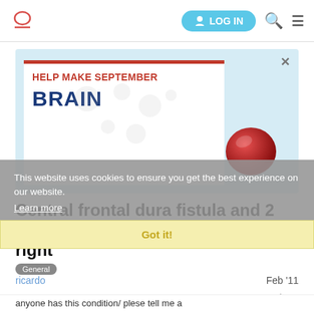[Figure (screenshot): Website navigation bar with logo, LOG IN button, search and menu icons]
[Figure (illustration): Advertisement banner: HELP MAKE SEPTEMBER BRAIN (Aneurysm Awareness Month) with red circle graphic on light blue background]
Central frontal dura fistula and 2 ophthalmic aneurysm one left one right
General
This website uses cookies to ensure you get the best experience on our website.
Learn more
Got it!
ricardo
Feb '11
1 / 10
anyone has this condition/ plese tell me a